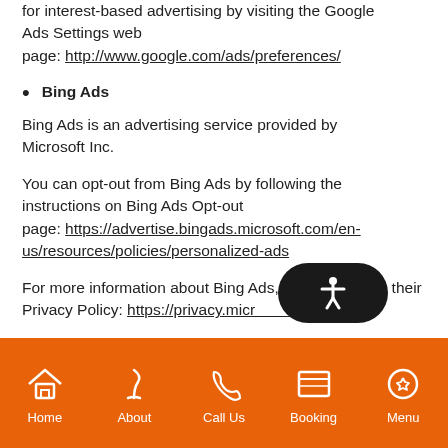for interest-based advertising by visiting the Google Ads Settings web page: http://www.google.com/ads/preferences/
Bing Ads
Bing Ads is an advertising service provided by Microsoft Inc.
You can opt-out from Bing Ads by following the instructions on Bing Ads Opt-out page: https://advertise.bingads.microsoft.com/en-us/resources/policies/personalized-ads
For more information about Bing Ads, visit their Privacy Policy: https://privacy.microsoft.com/en-
Home | About | Call Us | Booking | Menu